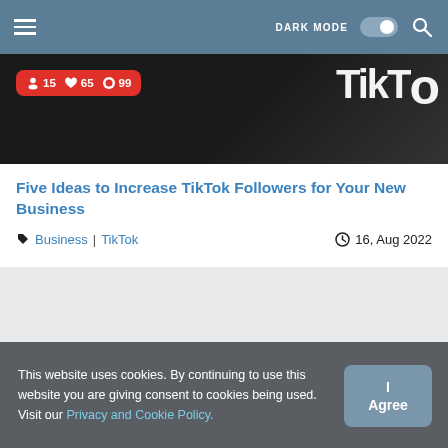DARK MODE [toggle] [search]
[Figure (screenshot): TikTok app screenshot showing notification bubble with icons: person 15, heart 65, comment 99, and TikTok logo visible on dark background]
Five Ideas to Increase TikTok Followers for Your New Business
Business | TikTok   16, Aug 2022
This website uses cookies. By continuing to use this website you are giving consent to cookies being used. Visit our Privacy and Cookie Policy.